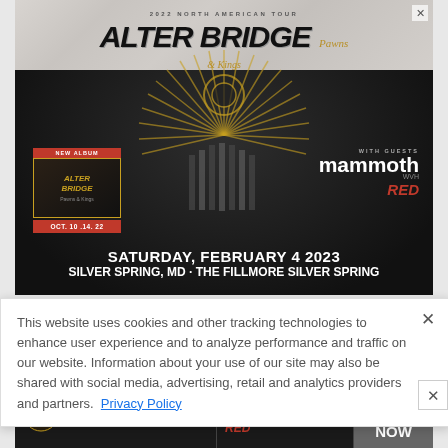[Figure (photo): Alter Bridge 2022 North American Tour concert advertisement. Features band name 'ALTER BRIDGE' in large gothic font with 'Pawns & Kings' subtitle, gold ray design, skull imagery, new album promo, mammoth WVH and RED as supporting acts, date Saturday February 4 2023, venue Silver Spring MD - The Fillmore Silver Spring.]
This website uses cookies and other tracking technologies to enhance user experience and to analyze performance and traffic on our website. Information about your use of our site may also be shared with social media, advertising, retail and analytics providers and partners. Privacy Policy
[Figure (photo): Bottom banner ad: Alter Bridge Pawns & Kings tour with Mammoth WVH and RED, Get Tickets Now button]